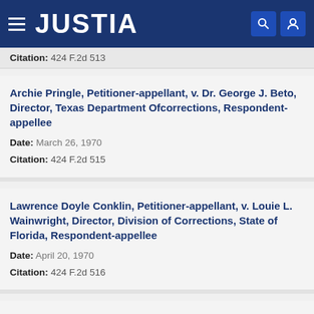JUSTIA
Citation: 424 F.2d 513
Archie Pringle, Petitioner-appellant, v. Dr. George J. Beto, Director, Texas Department Ofcorrections, Respondent-appellee
Date: March 26, 1970
Citation: 424 F.2d 515
Lawrence Doyle Conklin, Petitioner-appellant, v. Louie L. Wainwright, Director, Division of Corrections, State of Florida, Respondent-appellee
Date: April 20, 1970
Citation: 424 F.2d 516
Harvey Kelley, Petitioner-appellant, v. George A.